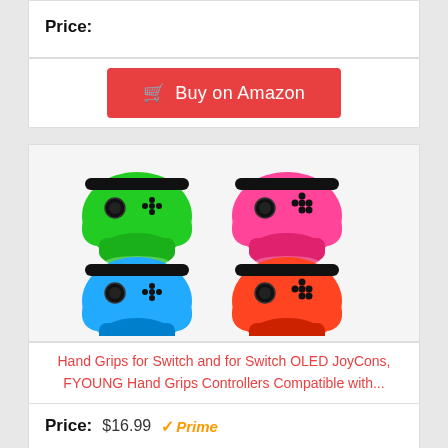Price:
[Figure (screenshot): Red 'Buy on Amazon' button with shopping cart icon]
[Figure (photo): Four Nintendo Switch JoyCon hand grips in green, pink, blue, and red colors arranged in a 2x2 grid]
Hand Grips for Switch and for Switch OLED JoyCons, FYOUNG Hand Grips Controllers Compatible with...
Price: $16.99 Prime